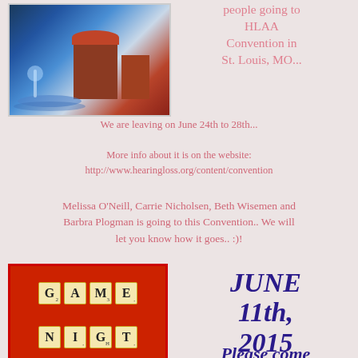[Figure (photo): City plaza with fountains and European-style buildings lit up at night]
people going to HLAA Convention in St. Louis, MO...
We are leaving on June 24th to 28th...
More info about it is on the website: http://www.hearingloss.org/content/convention
Melissa O'Neill, Carrie Nicholsen, Beth Wisemen and Barbra Plogman is going to this Convention.. We will let you know how it goes.. :)!
[Figure (photo): Scrabble tiles on red background spelling GAME NIGHT]
JUNE 11th, 2015
Please come